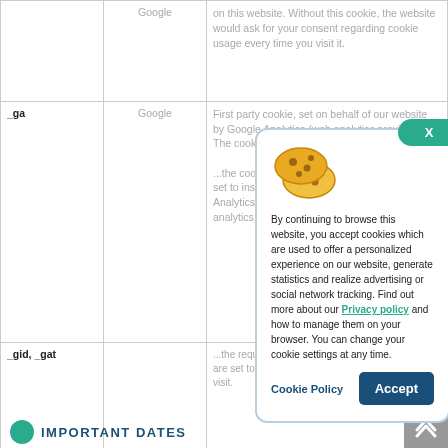| Cookie | Provider | Description |
| --- | --- | --- |
|  | Google | on this website. Without this cookie, the website would ask for your consent regarding cookie usage every time you visit it. |
| _ga | Google | First party cookie, set on behalf of our website by Google Analytics (web analytics provider). The cookie is used to distinguish ... the cookie is set to install Analytics analytics ... |
| _gid, _gat |  | ... the request rate (_gat) and their expiration times are set to 1 minute (_gat) and 24 hours (_gid) from last visit. |
[Figure (screenshot): Cookie consent popup with cookie illustration, close X button (teal oval), consent text with Privacy policy link, Cookie Policy link, and Accept button.]
By continuing to browse this website, you accept cookies which are used to offer a personalized experience on our website, generate statistics and realize advertising or social network tracking. Find out more about our Privacy policy and how to manage them on your browser. You can change your cookie settings at any time.
Cookie Policy
Accept